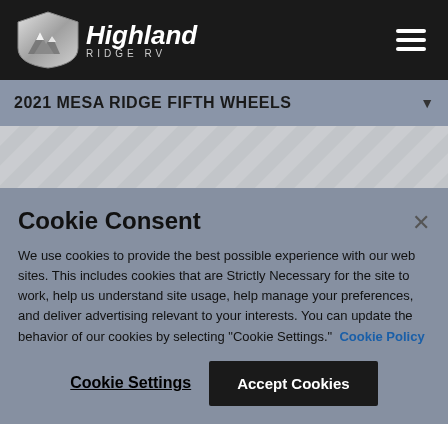[Figure (logo): Highland Ridge RV logo with shield emblem and text on dark header bar with hamburger menu icon]
2021 MESA RIDGE FIFTH WHEELS
[Figure (other): Diagonal striped pattern area in light gray]
Cookie Consent
We use cookies to provide the best possible experience with our web sites. This includes cookies that are Strictly Necessary for the site to work, help us understand site usage, help manage your preferences, and deliver advertising relevant to your interests. You can update the behavior of our cookies by selecting "Cookie Settings." Cookie Policy
Cookie Settings
Accept Cookies